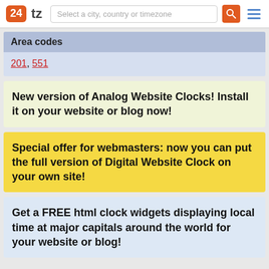24tz — Select a city, country or timezone
Area codes
201, 551
New version of Analog Website Clocks! Install it on your website or blog now!
Special offer for webmasters: now you can put the full version of Digital Website Clock on your own site!
Get a FREE html clock widgets displaying local time at major capitals around the world for your website or blog!